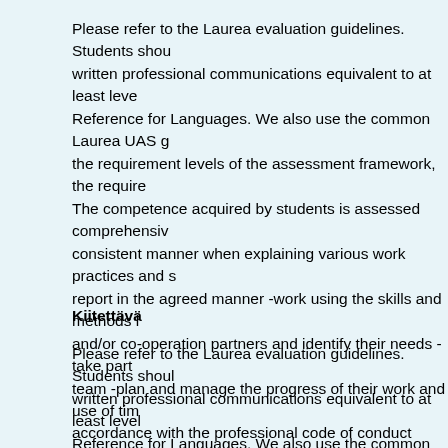Please refer to the Laurea evaluation guidelines. Students should written professional communications equivalent to at least level Reference for Languages. We also use the common Laurea UAS g the requirement levels of the assessment framework, the require The competence acquired by students is assessed comprehensiv consistent manner when explaining various work practices and s report in the agreed manner -work using the skills and methods l and/or co-operation partners and identify their needs -take part team -plan and manage the progress of their work and use of tim accordance with the professional code of conduct
Kiitettävä
Please refer to the Laurea evaluation guidelines. Students shoul written professional communications equivalent to at least level Reference for Languages. We also use the common Laurea UAS g the requirement levels of the assessment framework, the require The competence acquired by students is assessed comprehensiv extensively -compare and choose relevant information -report a independently, using the skills and methods learned -take respon partners and for -responding to their needs -anticipate their nee manage their time appropriately, completing the agreed tasks at skills and methods learned -plan and evaluate their work, taking